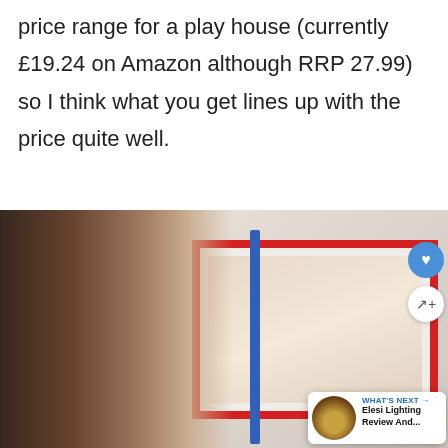price range for a play house (currently £19.24 on Amazon although RRP 27.99) so I think what you get lines up with the price quite well.
[Figure (photo): A young child looking at a toy play house with a red frame. Blue vertical pole visible. A miniature piano on the right side. Social media overlay buttons (heart/share) on right edge. 'What's Next' card at bottom right showing 'Elesi Lighting Review And...' with thumbnail.]